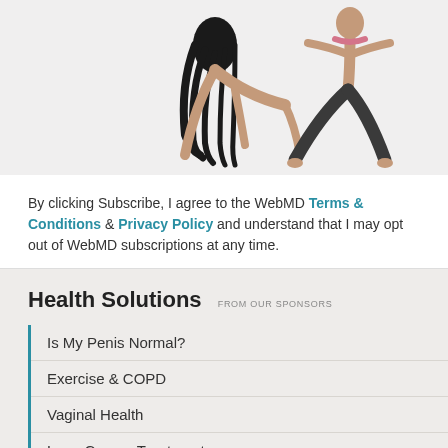[Figure (photo): Two people doing yoga/stretching poses on a light gray background. Left figure is bent forward with long dark hair hanging down. Right figure is in a wide-legged stretch pose wearing dark pants.]
By clicking Subscribe, I agree to the WebMD Terms & Conditions & Privacy Policy and understand that I may opt out of WebMD subscriptions at any time.
Health Solutions FROM OUR SPONSORS
Is My Penis Normal?
Exercise & COPD
Vaginal Health
Lung Cancer Treatment
Discover hATTR Symptoms
Migraine Management